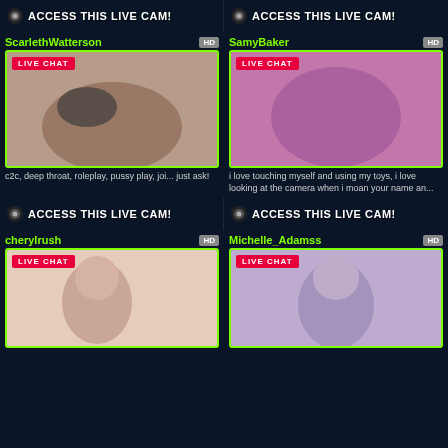[Figure (screenshot): ACCESS THIS LIVE CAM button top left]
[Figure (screenshot): ACCESS THIS LIVE CAM button top right]
ScarlethWatterson
[Figure (photo): LIVE CHAT thumbnail for ScarlethWatterson]
c2c, deep throat, roleplay, pussy play, joi... just ask!
SamyBaker
[Figure (photo): LIVE CHAT thumbnail for SamyBaker]
i love touching myself and using my toys, i love looking at the camera when i moan your name an...
[Figure (screenshot): ACCESS THIS LIVE CAM button bottom left]
[Figure (screenshot): ACCESS THIS LIVE CAM button bottom right]
cherylrush
[Figure (photo): LIVE CHAT thumbnail for cherylrush]
Michelle_Adamss
[Figure (photo): LIVE CHAT thumbnail for Michelle_Adamss]